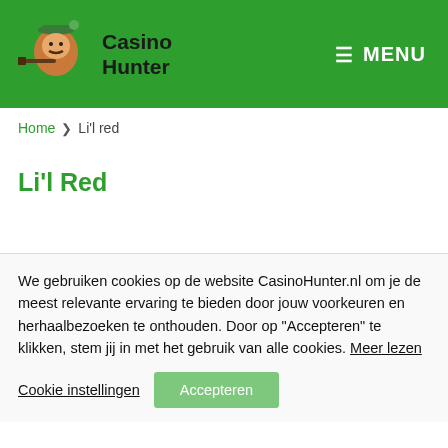Casino Hunter — MENU
Home > Li'l red
Li'l Red
We gebruiken cookies op de website CasinoHunter.nl om je de meest relevante ervaring te bieden door jouw voorkeuren en herhaalbezoeken te onthouden. Door op "Accepteren" te klikken, stem jij in met het gebruik van alle cookies. Meer lezen
Cookie instellingen   Accepteren